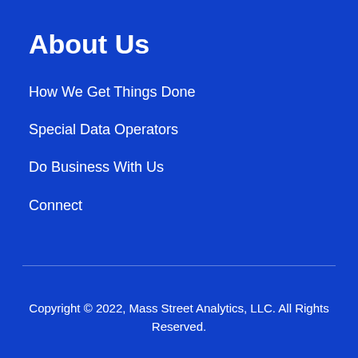About Us
How We Get Things Done
Special Data Operators
Do Business With Us
Connect
Copyright © 2022, Mass Street Analytics, LLC. All Rights Reserved.